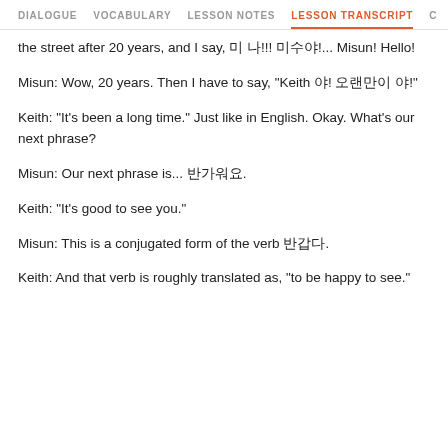DIALOGUE  VOCABULARY  LESSON NOTES  LESSON TRANSCRIPT  C
the street after 20 years, and I say, 미 나!!! 미수야!... Misun! Hello!
Misun: Wow, 20 years. Then I have to say, "Keith 야! 오랜만이 야!"
Keith: "It's been a long time." Just like in English. Okay. What's our next phrase?
Misun: Our next phrase is... 반가워요.
Keith: "It's good to see you."
Misun: This is a conjugated form of the verb 반갑다.
Keith: And that verb is roughly translated as, "to be happy to see."